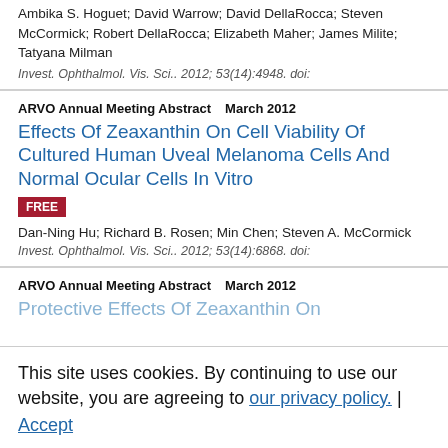Ambika S. Hoguet; David Warrow; David DellaRocca; Steven McCormick; Robert DellaRocca; Elizabeth Maher; James Milite; Tatyana Milman
Invest. Ophthalmol. Vis. Sci.. 2012; 53(14):4948. doi:
ARVO Annual Meeting Abstract   March 2012
Effects Of Zeaxanthin On Cell Viability Of Cultured Human Uveal Melanoma Cells And Normal Ocular Cells In Vitro
FREE
Dan-Ning Hu; Richard B. Rosen; Min Chen; Steven A. McCormick
Invest. Ophthalmol. Vis. Sci.. 2012; 53(14):6868. doi:
ARVO Annual Meeting Abstract   March 2012
Protective Effects Of Zeaxanthin On
This site uses cookies. By continuing to use our website, you are agreeing to our privacy policy. Accept